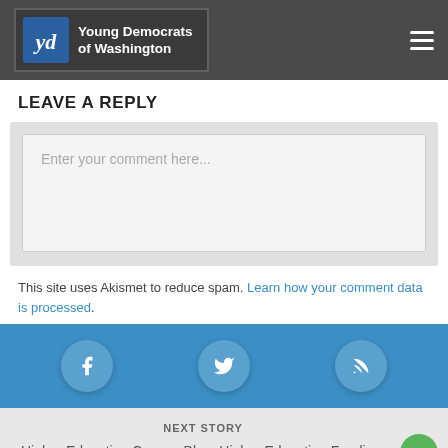Young Democrats of Washington
LEAVE A REPLY
[Figure (screenshot): Comment text area input box with placeholder text 'Enter your comment here...']
This site uses Akismet to reduce spam. Learn how your comment data is processed.
[Figure (infographic): Social media icons bar with Facebook, Twitter, and RSS icons on blue background]
NEXT STORY
Higher Education Caucus Blog: Higher Education Funding, Clinton's Tuition Proposal